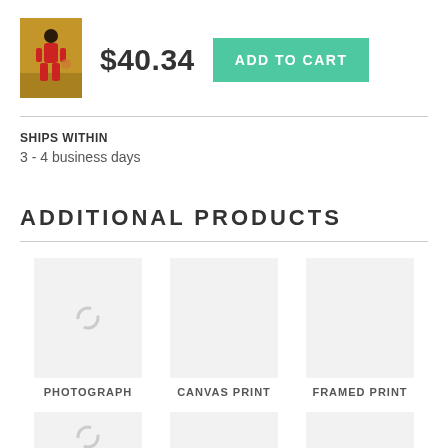[Figure (photo): Small thumbnail of a basketball player in red uniform dribbling on a court]
$40.34
ADD TO CART
SHIPS WITHIN
3 - 4 business days
ADDITIONAL  PRODUCTS
PHOTOGRAPH
CANVAS PRINT
FRAMED PRINT